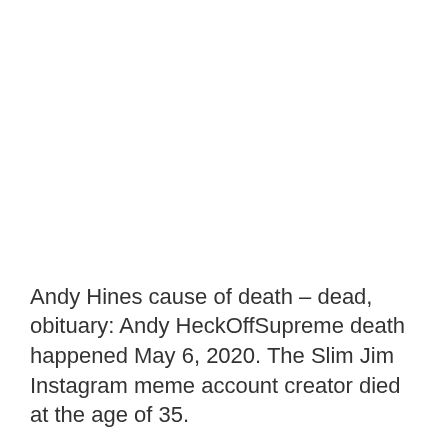Andy Hines cause of death – dead, obituary: Andy HeckOffSupreme death happened May 6, 2020. The Slim Jim Instagram meme account creator died at the age of 35.